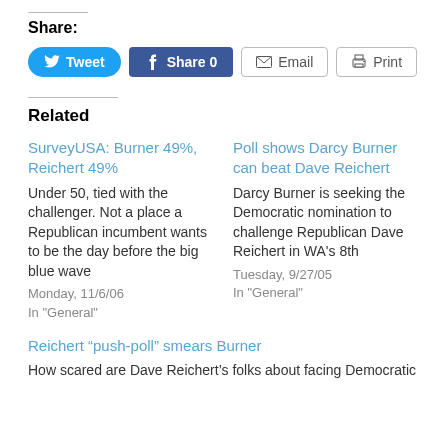Share:
[Figure (screenshot): Social sharing buttons: Tweet (Twitter, blue rounded), Share 0 (Facebook, blue), Email (outlined), Print (outlined)]
Related
SurveyUSA: Burner 49%, Reichert 49%
Under 50, tied with the challenger. Not a place a Republican incumbent wants to be the day before the big blue wave
Monday, 11/6/06
In "General"
Poll shows Darcy Burner can beat Dave Reichert
Darcy Burner is seeking the Democratic nomination to challenge Republican Dave Reichert in WA's 8th
Tuesday, 9/27/05
In "General"
Reichert “push-poll” smears Burner
How scared are Dave Reichert’s folks about facing Democratic